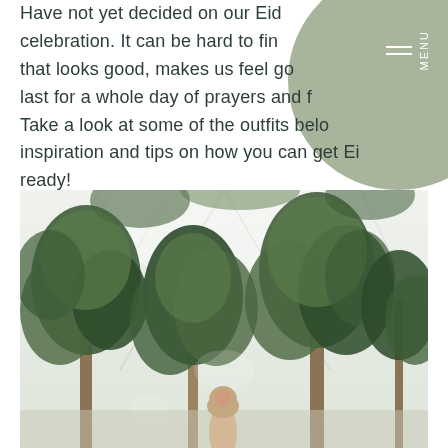Have not yet decided on our Eid celebration. It can be hard to find that looks good, makes us feel good, last for a whole day of prayers and fe. Take a look at some of the outfits below inspiration and tips on how you can get Eid ready!
[Figure (photo): A woman wearing a hijab standing among tall trees with lush green foliage inside what appears to be a bright, glass-roofed building or conservatory.]